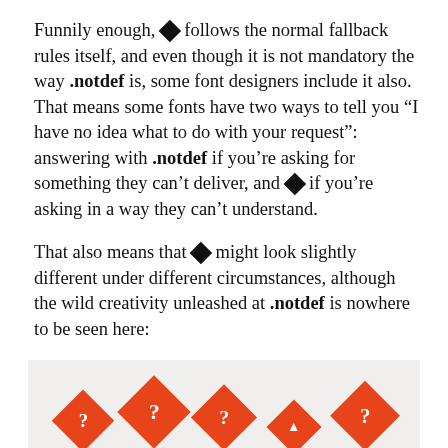Funnily enough, ◆ follows the normal fallback rules itself, and even though it is not mandatory the way .notdef is, some font designers include it also. That means some fonts have two ways to tell you “I have no idea what to do with your request”: answering with .notdef if you’re asking for something they can’t deliver, and ◆ if you’re asking in a way they can’t understand.
That also means that ◆ might look slightly different under different circumstances, although the wild creativity unleashed at .notdef is nowhere to be seen here:
[Figure (illustration): A row of five orange diamond-shaped icons, each containing a white question mark or similar symbol, shown at slightly different sizes, on a light gray background.]